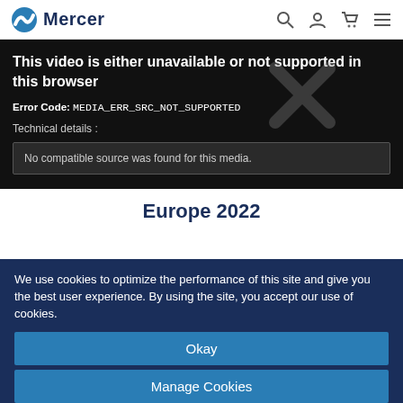Mercer
[Figure (screenshot): Video player error screen showing: 'This video is either unavailable or not supported in this browser'. Error Code: MEDIA_ERR_SRC_NOT_SUPPORTED. Technical details: No compatible source was found for this media. Large X overlay on the video.]
Europe 2022
We use cookies to optimize the performance of this site and give you the best user experience. By using the site, you accept our use of cookies.
Okay
Manage Cookies